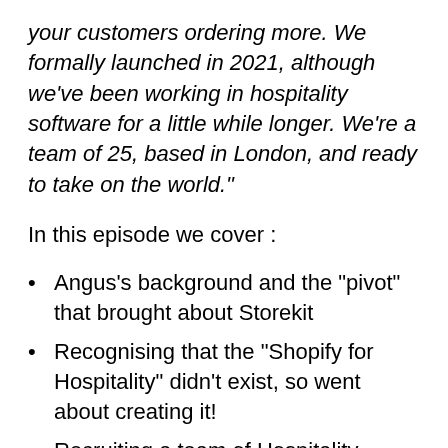your customers ordering more. We formally launched in 2021, although we've been working in hospitality software for a little while longer. We're a team of 25, based in London, and ready to take on the world."
In this episode we cover :
Angus's background and the "pivot" that brought about Storekit
Recognising that the "Shopify for Hospitality" didn't exist, so went about creating it!
Recruiting a team of Hospitality people to speak the same language and support implementation with their